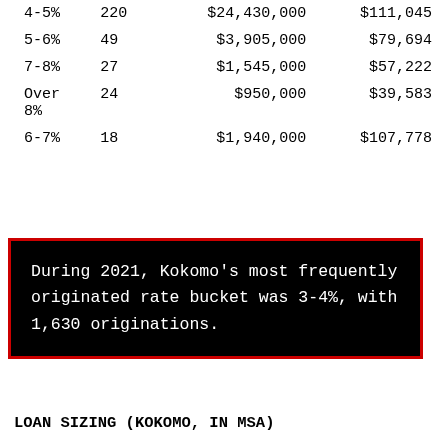| 4-5% | 220 | $24,430,000 | $111,045 |
| 5-6% | 49 | $3,905,000 | $79,694 |
| 7-8% | 27 | $1,545,000 | $57,222 |
| Over 8% | 24 | $950,000 | $39,583 |
| 6-7% | 18 | $1,940,000 | $107,778 |
During 2021, Kokomo's most frequently originated rate bucket was 3-4%, with 1,630 originations.
LOAN SIZING (KOKOMO, IN MSA)